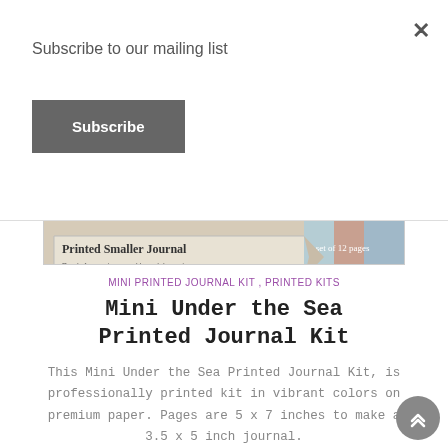Subscribe to our mailing list
Subscribe
[Figure (other): Product banner image showing 'Printed Smaller Journal – Ready for you to assemble and decorate – 1 set of 12 pages']
MINI PRINTED JOURNAL KIT , PRINTED KITS
Mini Under the Sea Printed Journal Kit
This Mini Under the Sea Printed Journal Kit, is professionally printed kit in vibrant colors on premium paper. Pages are 5 x 7 inches to make a 3.5 x 5 inch journal.